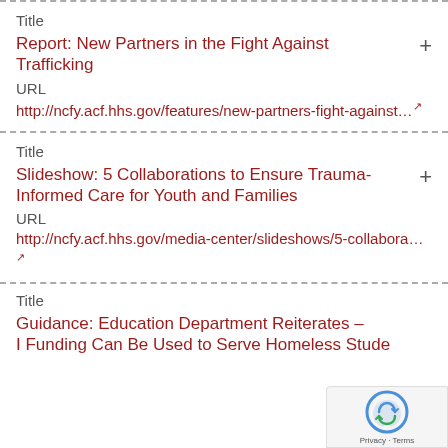Title
Report: New Partners in the Fight Against Trafficking
URL
http://ncfy.acf.hhs.gov/features/new-partners-fight-against...
Title
Slideshow: 5 Collaborations to Ensure Trauma-Informed Care for Youth and Families
URL
http://ncfy.acf.hhs.gov/media-center/slideshows/5-collabora...
Title
Guidance: Education Department Reiterates – I Funding Can Be Used to Serve Homeless Students